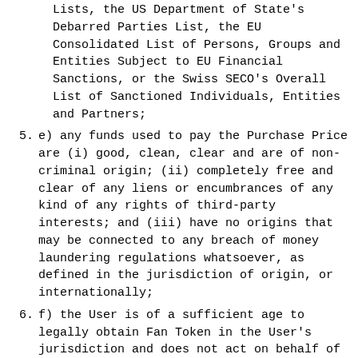Lists, the US Department of State's Debarred Parties List, the EU Consolidated List of Persons, Groups and Entities Subject to EU Financial Sanctions, or the Swiss SECO's Overall List of Sanctioned Individuals, Entities and Partners;
5. e) any funds used to pay the Purchase Price are (i) good, clean, clear and are of non-criminal origin; (ii) completely free and clear of any liens or encumbrances of any kind of any rights of third-party interests; and (iii) have no origins that may be connected to any breach of money laundering regulations whatsoever, as defined in the jurisdiction of origin, or internationally;
6. f) the User is of a sufficient age to legally obtain Fan Token in the User's jurisdiction and does not act on behalf of any third party;
7. g) the User is not purchasing Fan Token for the purpose of speculative investment but to build a connection with the collaboration Partner and to use the Fan Token as further described herein;
8. h) the User understands that the addition of Token Functionalities to the Fan Token by the Provider is not guaranteed and that the Fan Token might